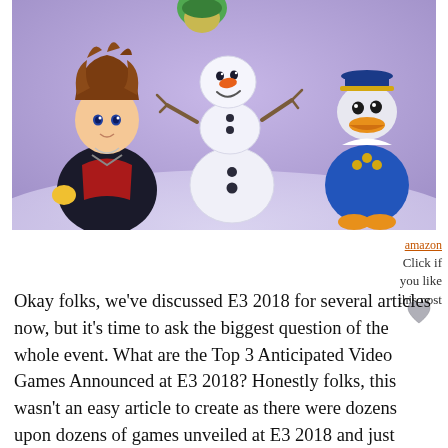[Figure (photo): Screenshot from a video game showing animated characters: a spiky-haired boy in black and red outfit (Sora from Kingdom Hearts), a snowman (Olaf from Frozen), and Donald Duck in a blue sailor outfit, against a purple/lavender snowy background.]
Click if you like this post
Okay folks, we’ve discussed E3 2018 for several articles now, but it’s time to ask the biggest question of the whole event. What are the Top 3 Anticipated Video Games Announced at E3 2018? Honestly folks, this wasn’t an easy article to create as there were dozens upon dozens of games unveiled at E3 2018 and just going to three seems to be diservicing the entire event. However, these three games were the